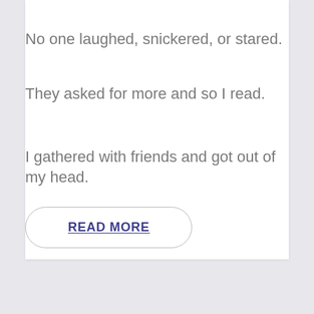No one laughed, snickered, or stared.
They asked for more and so I read.
I gathered with friends and got out of my head.
READ MORE